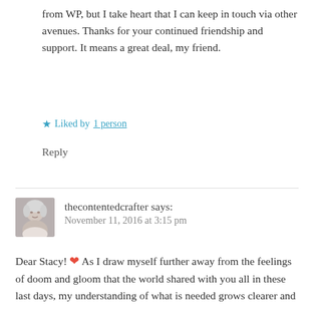from WP, but I take heart that I can keep in touch via other avenues. Thanks for your continued friendship and support. It means a great deal, my friend.
★ Liked by 1 person
Reply
[Figure (photo): Avatar photo of thecontentedcrafter — a woman with gray/white hair]
thecontentedcrafter says:
November 11, 2016 at 3:15 pm
Dear Stacy! ❤ As I draw myself further away from the feelings of doom and gloom that the world shared with you all in these last days, my understanding of what is needed grows clearer and